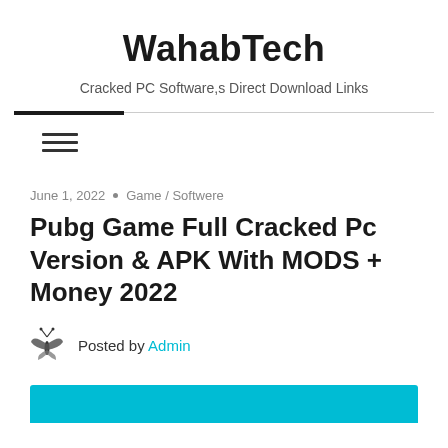WahabTech
Cracked PC Software,s Direct Download Links
[Figure (other): Navigation bar with dark accent line and hamburger menu icon (three horizontal lines)]
June 1, 2022 • Game / Softwere
Pubg Game Full Cracked Pc Version & APK With MODS + Money 2022
Posted by Admin
[Figure (other): Teal/cyan colored banner bar at the bottom of the page]